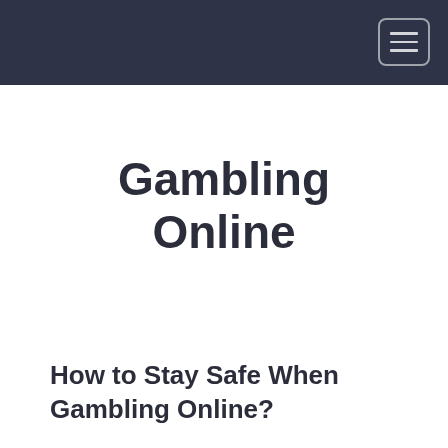Gambling Online
How to Stay Safe When Gambling Online?